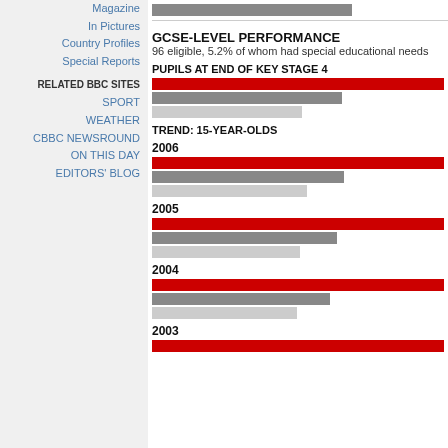Magazine
In Pictures
Country Profiles
Special Reports
RELATED BBC SITES
SPORT
WEATHER
CBBC NEWSROUND
ON THIS DAY
EDITORS' BLOG
GCSE-LEVEL PERFORMANCE
96 eligible, 5.2% of whom had special educational needs
PUPILS AT END OF KEY STAGE 4
[Figure (bar-chart): Three horizontal bars: red (full width), gray (medium), light gray (shorter)]
TREND: 15-YEAR-OLDS
2006
[Figure (bar-chart): Three horizontal bars: red (full), gray (medium-long), light gray (medium)]
2005
[Figure (bar-chart): Three horizontal bars: red (full), gray (medium), light gray (shorter)]
2004
[Figure (bar-chart): Three horizontal bars: red (full), gray (medium), light gray (shorter)]
2003
[Figure (bar-chart): One red bar visible (full width, page cut off)]